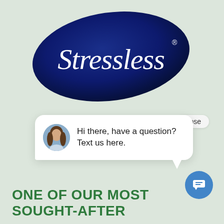[Figure (logo): Stressless brand logo — white italic script text on a dark navy blue organic blob/droplet shape background]
close
Hi there, have a question? Text us here.
ONE OF OUR MOST SOUGHT-AFTER